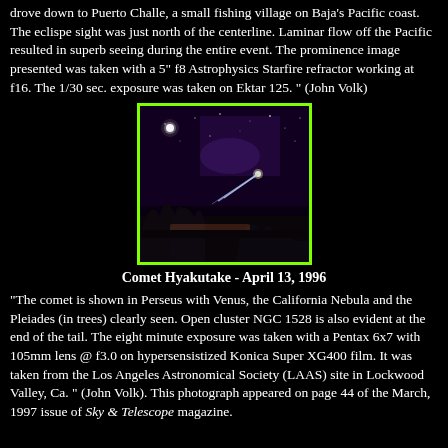drove down to Puerto Challe, a small fishing village on Baja's Pacific coast. The eclispe sight was just north of the centerline. Laminar flow off the Pacific resulted in superb seeing during the entire event. The prominence image presented was taken with a 5" f8 Astrophysics Starfire refractor working at f16. The 1/30 sec. exposure was taken on Ektar 125. " (John Volk)
[Figure (photo): Night sky photograph of Comet Hyakutake with a green border, showing a bright object and comet tail against a dark starry sky with tree silhouettes in the foreground.]
Comet Hyakutake - April 13, 1996
"The comet is shown in Perseus with Venus, the California Nebula and the Pleiades (in trees) clearly seen. Open cluster NGC 1528 is also evident at the end of the tail. The eight minute exposure was taken with a Pentax 6x7 with 105mm lens @ f3.0 on hypersensistized Konica Super XG400 film. It was taken from the Los Angeles Astronomical Society (LAAS) site in Lockwood Valley, Ca. " (John Volk). This photograph appeared on page 44 of the March, 1997 issue of Sky & Telescope magazine.